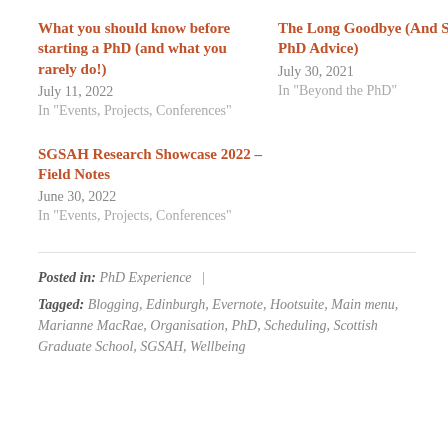What you should know before starting a PhD (and what you rarely do!)
July 11, 2022
In "Events, Projects, Conferences"
The Long Goodbye (And Some PhD Advice)
July 30, 2021
In "Beyond the PhD"
SGSAH Research Showcase 2022 – Field Notes
June 30, 2022
In "Events, Projects, Conferences"
Posted in: PhD Experience  |
Tagged: Blogging, Edinburgh, Evernote, Hootsuite, Main menu, Marianne MacRae, Organisation, PhD, Scheduling, Scottish Graduate School, SGSAH, Wellbeing